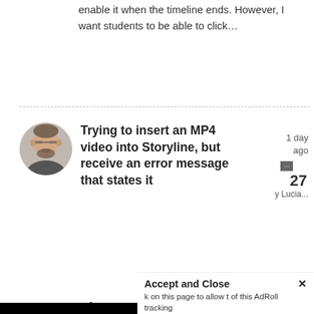enable it when the timeline ends. However, I want students to be able to click…
Trying to insert an MP4 video into Storyline, but receive an error message that states it
[Figure (photo): Avatar of a man with glasses and beard]
1 day ago
27
y Lucia...
This website stores data such as cookies to enable essential site functionality, as well as marketing, personalization, and analytics. By remaining on this website you indicate your consent.
Privacy Notice
Accept and Close ✕
k on this page to allow t of this AdRoll tracking
Disappears